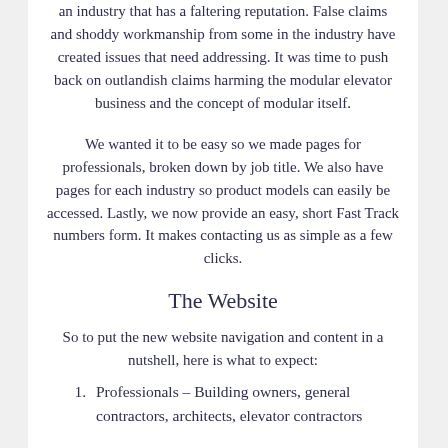an industry that has a faltering reputation. False claims and shoddy workmanship from some in the industry have created issues that need addressing. It was time to push back on outlandish claims harming the modular elevator business and the concept of modular itself.
We wanted it to be easy so we made pages for professionals, broken down by job title. We also have pages for each industry so product models can easily be accessed. Lastly, we now provide an easy, short Fast Track numbers form. It makes contacting us as simple as a few clicks.
The Website
So to put the new website navigation and content in a nutshell, here is what to expect:
Professionals – Building owners, general contractors, architects, elevator contractors